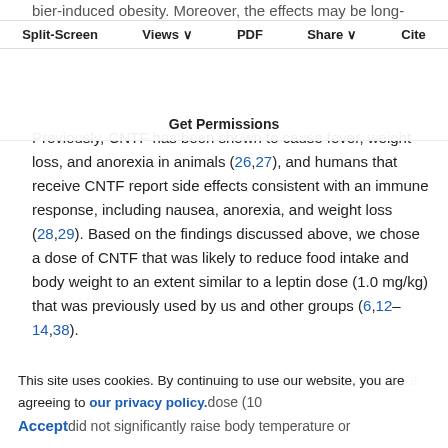bier-induced obesity. Moreover, the effects may be long-lasting, as no rebound weight-gain (6,25
Split-Screen | Views | PDF | Share | Cite
Get Permissions
Previously, CNTF has been shown to cause fever, weight loss, and anorexia in animals (26,27), and humans that receive CNTF report side effects consistent with an immune response, including nausea, anorexia, and weight loss (28,29). Based on the findings discussed above, we chose a dose of CNTF that was likely to reduce food intake and body weight to an extent similar to a leptin dose (1.0 mg/kg) that was previously used by us and other groups (6,12–14,38).
Our present results are consistent with the hypothesis that
This site uses cookies. By continuing to use our website, you are agreeing to our privacy policy. Accept